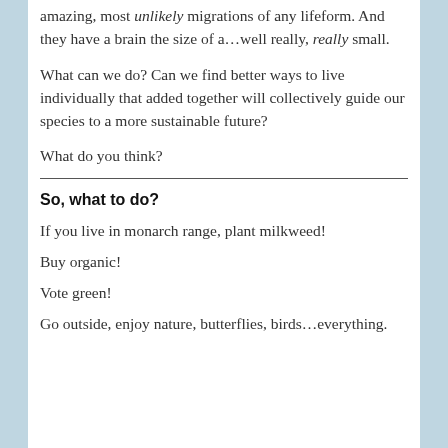amazing, most unlikely migrations of any lifeform. And they have a brain the size of a…well really, really small.
What can we do? Can we find better ways to live individually that added together will collectively guide our species to a more sustainable future?
What do you think?
So, what to do?
If you live in monarch range, plant milkweed!
Buy organic!
Vote green!
Go outside, enjoy nature, butterflies, birds…everything.